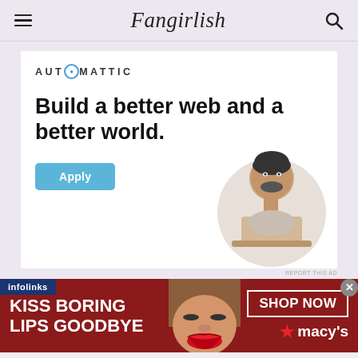Fangirlish
[Figure (infographic): Automattic advertisement: logo at top, headline 'Build a better web and a better world.', Apply button, and circular photo of a man thinking at a desk]
[Figure (infographic): Macy's advertisement banner: 'KISS BORING LIPS GOODBYE' text on dark red background with woman's face and lips, SHOP NOW button, Macy's star logo]
REPORT THIS AD